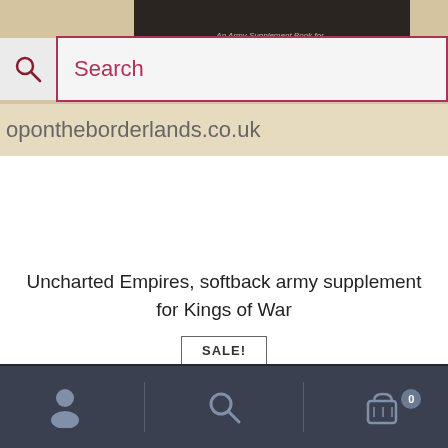[Figure (screenshot): Book cover image for 'An Army Supplement Book for Kings of War' shown partially at the top]
opontheborderlands.co.uk
[Figure (screenshot): Search bar with magnifying glass icon and pink/crimson border, placeholder text 'Search']
Uncharted Empires, softback army supplement for Kings of War
SALE!
£13.49  £6.74
1 in stock
[Figure (infographic): Bottom navigation bar with user icon, search icon, and shopping cart icon with badge showing 0]